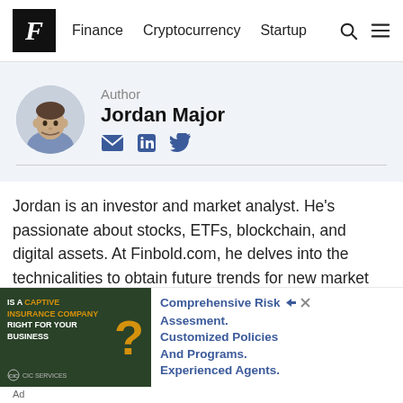F  Finance  Cryptocurrency  Startup
Author
Jordan Major
Jordan is an investor and market analyst. He's passionate about stocks, ETFs, blockchain, and digital assets. At Finbold.com, he delves into the technicalities to obtain future trends for new market traders and gives insights into
[Figure (other): Advertisement for CIC Services captive insurance company with text 'IS A CAPTIVE INSURANCE COMPANY RIGHT FOR YOUR BUSINESS' and a large yellow question mark]
Comprehensive Risk Assessment. Customized Policies And Programs. Experienced Agents.
Ad